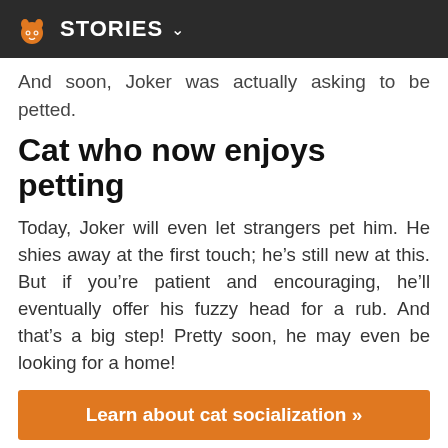STORIES
And soon, Joker was actually asking to be petted.
Cat who now enjoys petting
Today, Joker will even let strangers pet him. He shies away at the first touch; he’s still new at this. But if you’re patient and encouraging, he’ll eventually offer his fuzzy head for a rub. And that’s a big step! Pretty soon, he may even be looking for a home!
Learn about cat socialization »
Photo by Troy Snow